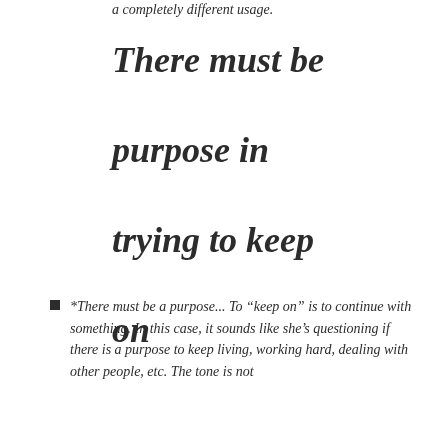a completely different usage.
There must be purpose in trying to keep on
*There must be a purpose... To “keep on” is to continue with something. In this case, it sounds like she’s questioning if there is a purpose to keep living, working hard, dealing with other people, etc. The tone is not